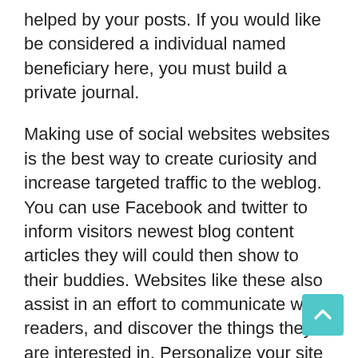helped by your posts. If you would like be considered a individual named beneficiary here, you must build a private journal.
Making use of social websites websites is the best way to create curiosity and increase targeted traffic to the weblog. You can use Facebook and twitter to inform visitors newest blog content articles they will could then show to their buddies. Websites like these also assist in an effort to communicate with readers, and discover the things they are interested in. Personalize your site updates with their pursuits.
Integrate discussing widgets for social media web sites. While you strive to develop your readership base, social networking is an ideal technique for your potential customers to talk about with other individuals. Through providing opportunities for your personal weblog to get broadcast to relatives and buddies, you will generate your follower basic up substantially.